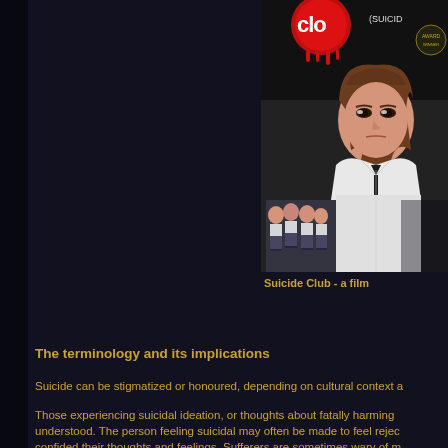[Figure (photo): Movie poster/cover art for 'Suicide Club' - a Japanese film showing a young woman in a white school uniform with a black ribbon tie in the foreground, and a group of schoolgirls in the background. The title appears in red at the top with the word (SUICID partially visible).]
Suicide Club - a film
The terminology and its implications
Suicide can be stigmatized or honoured, depending on cultural context a
Those experiencing suicidal ideation, or thoughts about fatally harming understood. The person feeling suicidal may often be made to feel rejec confided their thoughts and feelings. Sufferers are sometimes wary of m they lack empathy or might accuse them of trying to hurt the feelings of also wish to avoid being seen as making suicide 'threats', fearing that th others. This may lead to situations where a person commits suicide with